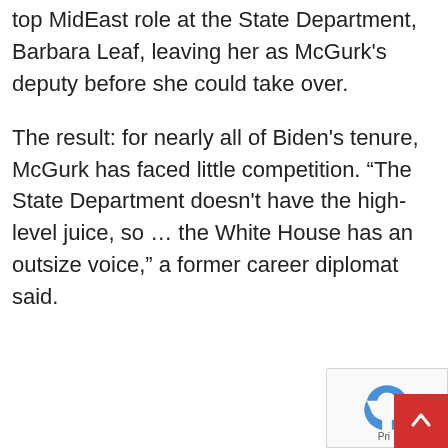top MidEast role at the State Department, Barbara Leaf, leaving her as McGurk's deputy before she could take over.
The result: for nearly all of Biden's tenure, McGurk has faced little competition. “The State Department doesn't have the high-level juice, so … the White House has an outsize voice,” a former career diplomat said.